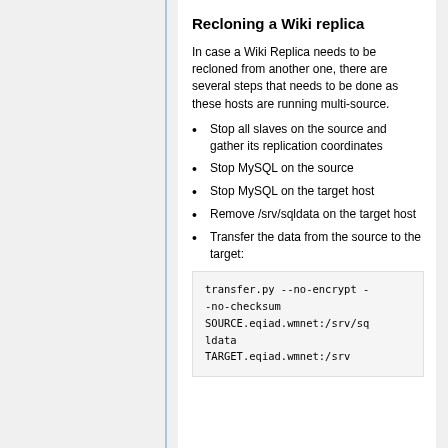Recloning a Wiki replica
In case a Wiki Replica needs to be recloned from another one, there are several steps that needs to be done as these hosts are running multi-source.
Stop all slaves on the source and gather its replication coordinates
Stop MySQL on the source
Stop MySQL on the target host
Remove /srv/sqldata on the target host
Transfer the data from the source to the target:
transfer.py --no-encrypt --no-checksum SOURCE.eqiad.wmnet:/srv/sqldata TARGET.eqiad.wmnet:/srv